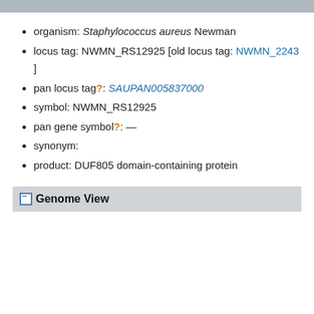organism: Staphylococcus aureus Newman
locus tag: NWMN_RS12925 [old locus tag: NWMN_2243 ]
pan locus tag?: SAUPAN005837000
symbol: NWMN_RS12925
pan gene symbol?: —
synonym:
product: DUF805 domain-containing protein
Genome View